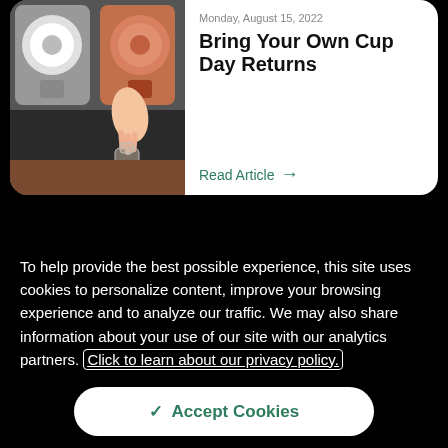[Figure (photo): Photo of a slushie/beverage dispensing machine with someone filling a bottle, machines visible with orange liquid]
Monday, August 15, 2022
Bring Your Own Cup Day Returns
Read Article →
To help provide the best possible experience, this site uses cookies to personalize content, improve your browsing experience and to analyze our traffic. We may also share information about your use of our site with our analytics partners. Click to learn about our privacy policy.
✓ Accept Cookies